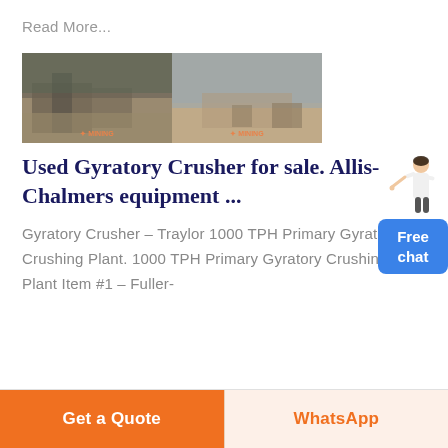Read More...
[Figure (photo): Two side-by-side photos of an open-pit mining/crushing plant site with heavy equipment and mountainous terrain in the background, each with a small orange logo watermark.]
Used Gyratory Crusher for sale. Allis-Chalmers equipment ...
Gyratory Crusher – Traylor 1000 TPH Primary Gyratory Crushing Plant. 1000 TPH Primary Gyratory Crushing Plant Item #1 – Fuller-
[Figure (illustration): Free chat widget with a female figure pointing to a blue rounded rectangle button labeled 'Free chat']
Get a Quote
WhatsApp